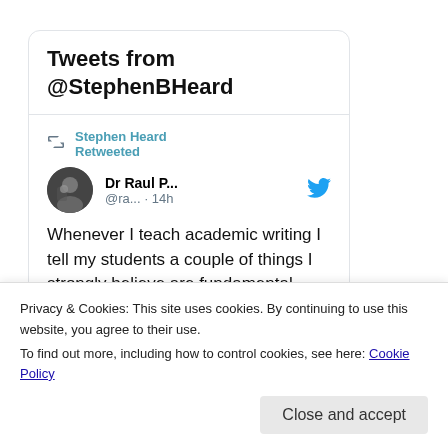Tweets from @StephenBHeard
Stephen Heard Retweeted
Dr Raul P... @ra... · 14h
Whenever I teach academic writing I tell my students a couple of things I strongly believe are fundamental. First, to learn how to write...
Privacy & Cookies: This site uses cookies. By continuing to use this website, you agree to their use.
To find out more, including how to control cookies, see here: Cookie Policy
Close and accept